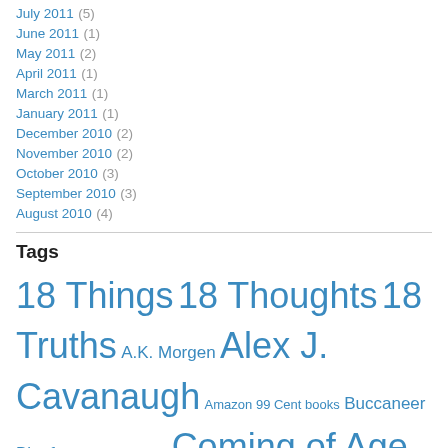July 2011 (5)
June 2011 (1)
May 2011 (2)
April 2011 (1)
March 2011 (1)
January 2011 (1)
December 2010 (2)
November 2010 (2)
October 2010 (3)
September 2010 (3)
August 2010 (4)
Tags
18 Things 18 Thoughts 18 Truths A.K. Morgen Alex J. Cavanaugh Amazon 99 Cent books Buccaneer Blogfest Coming of Age Coming of Age Fiction Coming